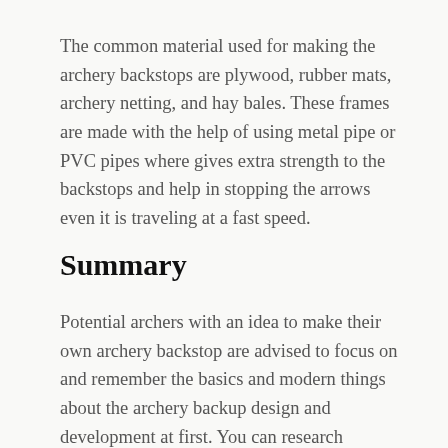The common material used for making the archery backstops are plywood, rubber mats, archery netting, and hay bales. These frames are made with the help of using metal pipe or PVC pipes where gives extra strength to the backstops and help in stopping the arrows even it is traveling at a fast speed.
Summary
Potential archers with an idea to make their own archery backstop are advised to focus on and remember the basics and modern things about the archery backup design and development at first. You can research significant aspects of the archery backstop and make a good decision to create your own